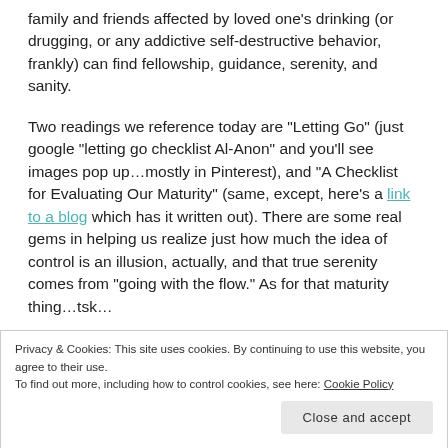family and friends affected by loved one's drinking (or drugging, or any addictive self-destructive behavior, frankly) can find fellowship, guidance, serenity, and sanity.
Two readings we reference today are "Letting Go" (just google "letting go checklist Al-Anon" and you'll see images pop up…mostly in Pinterest), and "A Checklist for Evaluating Our Maturity" (same, except, here's a link to a blog which has it written out). There are some real gems in helping us realize just how much the idea of control is an illusion, actually, and that true serenity comes from "going with the flow." As for that maturity thing…tsk…
Privacy & Cookies: This site uses cookies. By continuing to use this website, you agree to their use. To find out more, including how to control cookies, see here: Cookie Policy